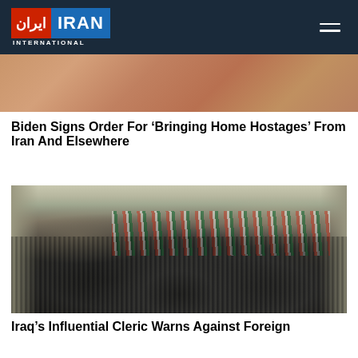Iran International
[Figure (photo): Partial photo of a person, cropped, visible at top of page below the header bar]
Biden Signs Order For ‘Bringing Home Hostages’ From Iran And Elsewhere
[Figure (photo): Aerial view of a large crowd of protesters filling a wide street, many wearing black, with flags including Iraqi and green flags visible, trees and buildings in background]
Iraq’s Influential Cleric Warns Against Foreign